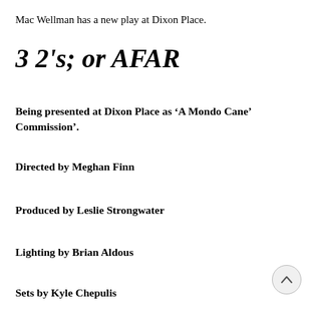Mac Wellman has a new play at Dixon Place.
3 2's; or AFAR
Being presented at Dixon Place as ‘A Mondo Cane’ Commission’.
Directed by Meghan Finn
Produced by Leslie Strongwater
Lighting by Brian Aldous
Sets by Kyle Chepulis
Costumes by…